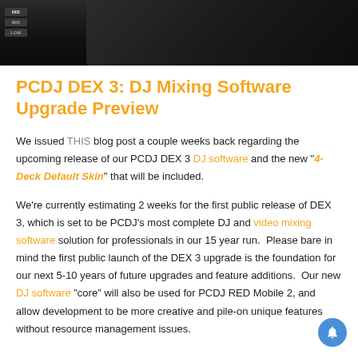[Figure (photo): Dark camera/DJ equipment photo at the top of the page showing a dark body with MID, HID, LOW buttons on the left side]
PCDJ DEX 3: DJ Mixing Software Upgrade Preview
We issued THIS blog post a couple weeks back regarding the upcoming release of our PCDJ DEX 3 DJ software and the new "4-Deck Default Skin" that will be included.
We're currently estimating 2 weeks for the first public release of DEX 3, which is set to be PCDJ's most complete DJ and video mixing software solution for professionals in our 15 year run.  Please bare in mind the first public launch of the DEX 3 upgrade is the foundation for our next 5-10 years of future upgrades and feature additions.  Our new DJ software "core" will also be used for PCDJ RED Mobile 2, and allow development to be more creative and pile-on unique features without resource management issues.